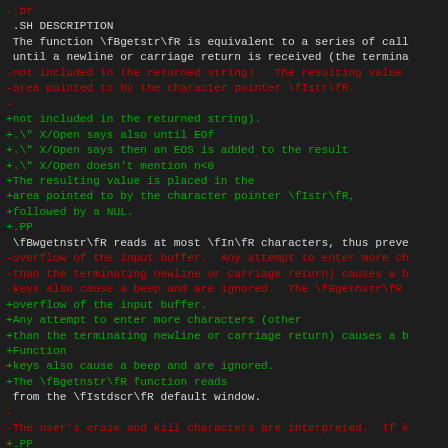Diff output of a man page source file showing removed lines (red) and added lines (green) for getstr/wgetnstr documentation